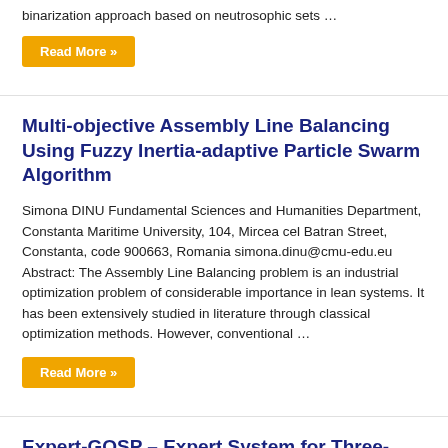binarization approach based on neutrosophic sets …
Read More »
Multi-objective Assembly Line Balancing Using Fuzzy Inertia-adaptive Particle Swarm Algorithm
Simona DINU Fundamental Sciences and Humanities Department, Constanta Maritime University, 104, Mircea cel Batran Street, Constanta, code 900663, Romania simona.dinu@cmu-edu.eu Abstract: The Assembly Line Balancing problem is an industrial optimization problem of considerable importance in lean systems. It has been extensively studied in literature through classical optimization methods. However, conventional …
Read More »
Expert-GOSP – Expert System for Three-